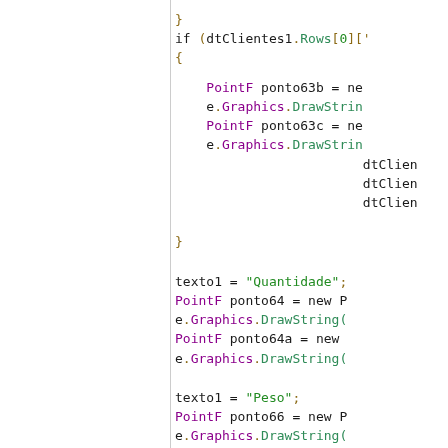Code snippet showing C# graphics drawing code with PointF, DrawString calls, and variable assignments for texto1 with values Quantidade and Peso.